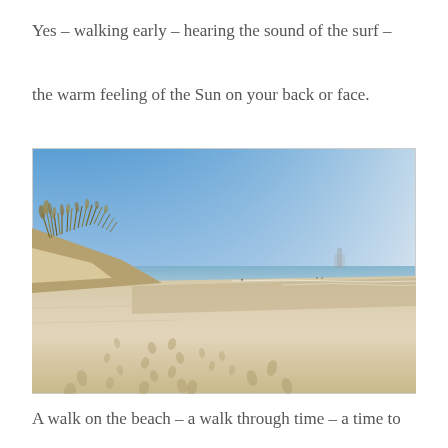Yes – walking early – hearing the sound of the surf –
the warm feeling of the Sun on your back or face.
[Figure (photo): A wide sandy beach photographed from a low angle. On the left are sandy dunes with sea oats and grass. The beach stretches far into the distance along the right side with calm ocean waves. A clear blue sky dominates the upper portion. Footprints are visible in the foreground sand.]
A walk on the beach – a walk through time – a time to